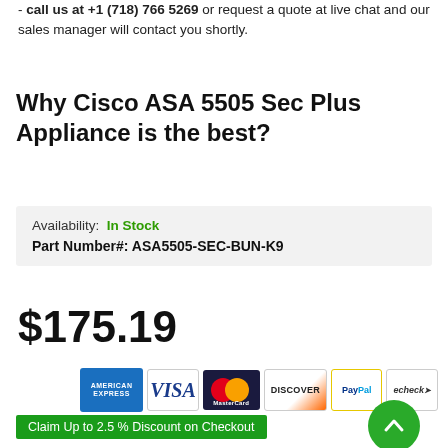- call us at +1 (718) 766 5269 or request a quote at live chat and our sales manager will contact you shortly.
Why Cisco ASA 5505 Sec Plus Appliance is the best?
Availability: In Stock
Part Number#: ASA5505-SEC-BUN-K9
$175.19
[Figure (other): Payment method icons: American Express, Visa, MasterCard, Discover, PayPal, echeck]
Claim Up to 2.5 % Discount on Checkout
Short Description:
Cisco ASA 5505 Sec Plus Appliance ASA5505-SEC-BUN-K9 | Refurbished